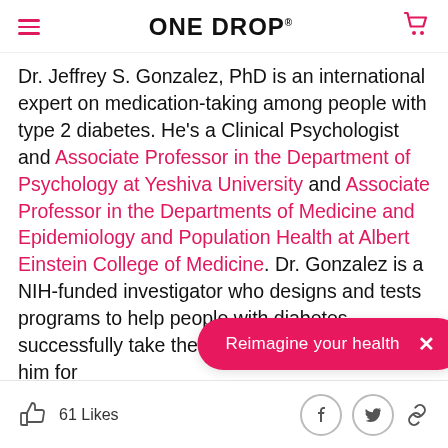ONE DROP
Dr. Jeffrey S. Gonzalez, PhD is an international expert on medication-taking among people with type 2 diabetes. He's a Clinical Psychologist and Associate Professor in the Department of Psychology at Yeshiva University and Associate Professor in the Departments of Medicine and Epidemiology and Population Health at Albert Einstein College of Medicine. Dr. Gonzalez is a NIH-funded investigator who designs and tests programs to help people with diabetes successfully take their medications. I've know... years. We share a pass... predicting and promoting medication adherence in...
[Figure (other): Pink pill-shaped banner with text 'Reimagine your health' and a close X button]
61 Likes — Facebook, Twitter, Link icons